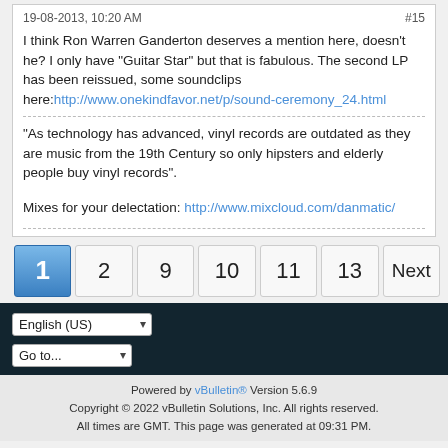19-08-2013, 10:20 AM    #15
I think Ron Warren Ganderton deserves a mention here, doesn't he? I only have "Guitar Star" but that is fabulous. The second LP has been reissued, some soundclips here:http://www.onekindfavor.net/p/sound-ceremony_24.html
"As technology has advanced, vinyl records are outdated as they are music from the 19th Century so only hipsters and elderly people buy vinyl records".
Mixes for your delectation: http://www.mixcloud.com/danmatic/
1  2  9  10  11  13  Next
English (US)  Go to...
Powered by vBulletin® Version 5.6.9
Copyright © 2022 vBulletin Solutions, Inc. All rights reserved.
All times are GMT. This page was generated at 09:31 PM.